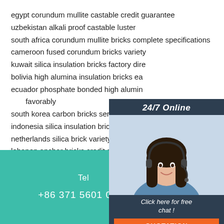egypt corundum mullite castable credit guarantee
uzbekistan alkali proof castable luster
south africa corundum mullite bricks complete specifications
cameroon fused corundum bricks variety
kuwait silica insulation bricks factory dire
bolivia high alumina insulation bricks ea
ecuador phosphate bonded high alumina favorably
south korea carbon bricks series rest as
indonesia silica insulation bricks rest ass
netherlands silica brick variety of
lebanon anchor bricks credit guarantee
china high alumina refractory bricks lust
[Figure (other): 24/7 Online chat widget with a customer service representative photo, 'Click here for free chat!' text and an orange QUOTATION button]
Tel
+86 371 5601 0932
[Figure (logo): TOP logo with orange dots arranged in an arch above the letters TOP in teal/dark color]